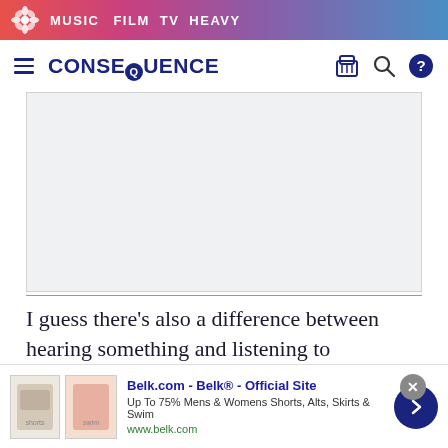MUSIC  FILM  TV  HEAVY
CONSEQUENCE
[Figure (other): Large rectangular advertisement placeholder with light grey background]
I guess there’s also a difference between hearing something and listening to something. If you’re
[Figure (other): Belk.com advertisement banner: Belk® - Official Site. Up To 75% Mens & Womens Shorts, Alts, Skirts & Swim. www.belk.com]